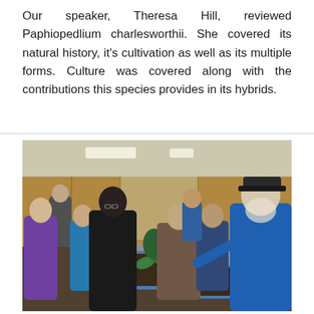Our speaker, Theresa Hill, reviewed Paphiopedlium charlesworthii. She covered its natural history, it's cultivation as well as its multiple forms. Culture was covered along with the contributions this species provides in its hybrids.
[Figure (photo): Group of people at an indoor plant event, working around tables with blue tubs containing plant material. Several attendees are handling orchid plants in a wood-paneled room.]